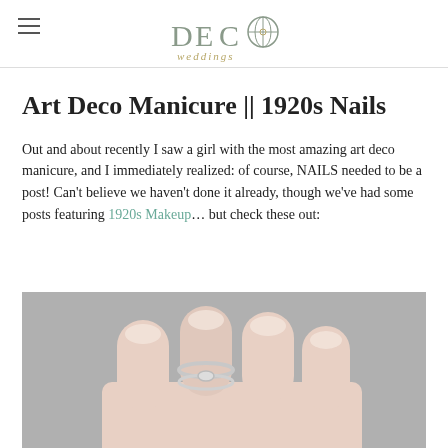DECO Weddings
Art Deco Manicure || 1920s Nails
Out and about recently I saw a girl with the most amazing art deco manicure, and I immediately realized: of course, NAILS needed to be a post! Can't believe we haven't done it already, though we've had some posts featuring 1920s Makeup… but check these out:
[Figure (photo): Close-up photo of fingers with an art deco style manicure, pink/nude nails with silver metallic ring detail, against a grey background]